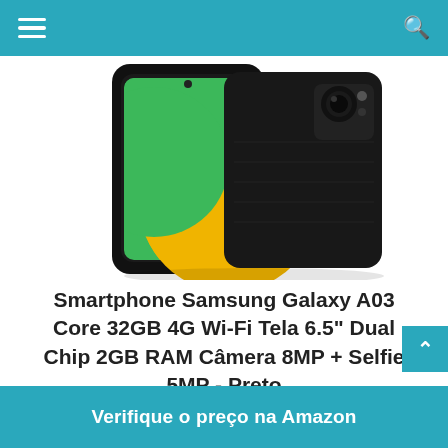≡  🔍
[Figure (photo): Samsung Galaxy A03 Core smartphone shown from front and back in black color. Front shows colorful green and yellow wallpaper; back shows camera module.]
Smartphone Samsung Galaxy A03 Core 32GB 4G Wi-Fi Tela 6.5" Dual Chip 2GB RAM Câmera 8MP + Selfie 5MP - Preto
Verifique o preço na Amazon